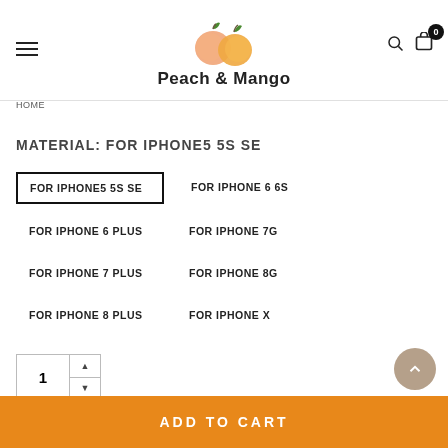[Figure (logo): Peach & Mango logo with two fruit icons and bold text]
HOME
MATERIAL: FOR IPHONE5 5S SE
FOR IPHONE5 5S SE (selected)
FOR IPHONE 6 6S
FOR IPHONE 6 PLUS
FOR IPHONE 7G
FOR IPHONE 7 PLUS
FOR IPHONE 8G
FOR IPHONE 8 PLUS
FOR IPHONE X
1
ADD TO CART